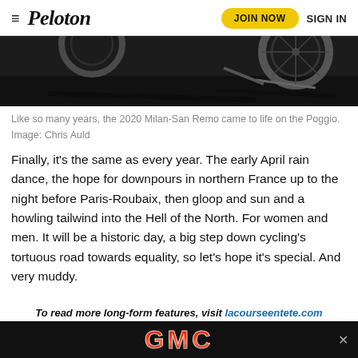≡ Peloton   JOIN NOW   SIGN IN
[Figure (photo): Dark close-up photo of bicycle wheels/frame on a dark surface, partial view from top]
Like so many years, the 2020 Milan-San Remo came to life on the Poggio. Image: Chris Auld
Finally, it's the same as every year. The early April rain dance, the hope for downpours in northern France up to the night before Paris-Roubaix, then gloop and sun and a howling tailwind into the Hell of the North. For women and men. It will be a historic day, a big step down cycling's tortuous road towards equality, so let's hope it's special. And very muddy.
To read more long-form features, visit lacourseentete.com
[Figure (logo): GMC advertisement banner with red GMC logo on black background]